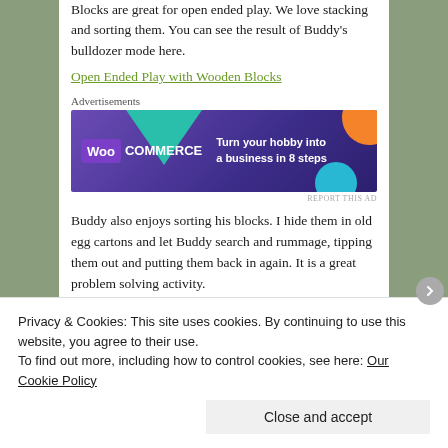Blocks are great for open ended play. We love stacking and sorting them. You can see the result of Buddy's bulldozer mode here.
Open Ended Play with Wooden Blocks
Advertisements
[Figure (other): WooCommerce advertisement banner with purple background, geometric shapes, and text 'Turn your hobby into a business in 8 steps']
REPORT THIS AD
Buddy also enjoys sorting his blocks. I hide them in old egg cartons and let Buddy search and rummage, tipping them out and putting them back in again. It is a great problem solving activity.
[Figure (photo): Partial view of a sandy or textured surface photo at the bottom of the content column]
Privacy & Cookies: This site uses cookies. By continuing to use this website, you agree to their use.
To find out more, including how to control cookies, see here: Our Cookie Policy
Close and accept